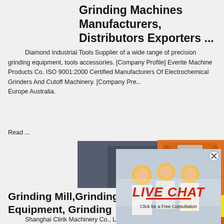Grinding Machines Manufacturers, Distributors Exporters ...
Diamond Industrial Tools Supplier of a wide range of precision grinding equipment, tools accessories. [Company Profile] Everite Machine Products Co. ISO 9001:2000 Certified Manufacturers Of Electrochemical Grinders And Cutoff Machinery. [Company Pro... Europe Australia.
Read ...
[Figure (photo): Live Chat popup overlay showing workers in yellow hard hats with 'LIVE CHAT - Click for a Free Consultation' text, Chat now and Chat later buttons]
[Figure (photo): Right sidebar advertisement with machinery images, orange background, 'Enjoy 3% discount', 'Click to Chat', Enquiry, and limingjlmofen@sina.com contact]
Grinding Mill,Grinding Equipment, Grinding Machine ...
Shanghai Clirik Machinery Co., Ltd, locat... Pudong New Area of Shanghai, China, is a large